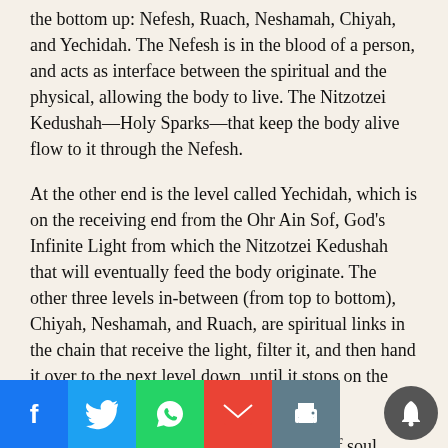the bottom up: Nefesh, Ruach, Neshamah, Chiyah, and Yechidah. The Nefesh is in the blood of a person, and acts as interface between the spiritual and the physical, allowing the body to live. The Nitzotzei Kedushah—Holy Sparks—that keep the body alive flow to it through the Nefesh.
At the other end is the level called Yechidah, which is on the receiving end from the Ohr Ain Sof, God's Infinite Light from which the Nitzotzei Kedushah that will eventually feed the body originate. The other three levels in-between (from top to bottom), Chiyah, Neshamah, and Ruach, are spiritual links in the chain that receive the light, filter it, and then hand it over to the next level down, until it stops on the level of Nefesh.
According to Kabbalah, these five levels of soul correspond to five phases of a human behavior (from top to bottom): Ratzon, Hirhur, Machshavah, Dibur, and Ma'aseh, which translate as: Will, Thought, Mind, Speech, and Action. Everything we do begins with a will (Ratzon), which we may not even be conscious of, to do something, which causes us to